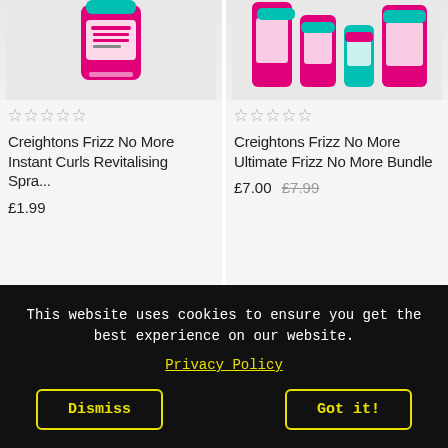[Figure (photo): Creightons Frizz No More Instant Curls Revitalising Spray product image - pink bottle with teal cap]
☆☆☆☆☆
Creightons Frizz No More Instant Curls Revitalising Spra...
£1.99
[Figure (photo): Creightons Frizz No More Ultimate Frizz No More Bundle - multiple pink and teal bottles]
☆☆☆☆☆
Creightons Frizz No More Ultimate Frizz No More Bundle
£7.00  £7.99
This website uses cookies to ensure you get the best experience on our website.
Privacy Policy
Dismiss
Got it!